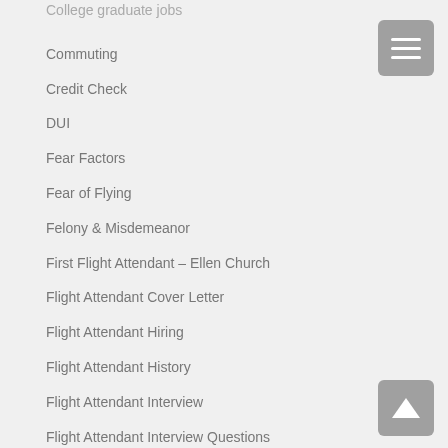College graduate jobs
Commuting
Credit Check
DUI
Fear Factors
Fear of Flying
Felony & Misdemeanor
First Flight Attendant – Ellen Church
Flight Attendant Cover Letter
Flight Attendant Hiring
Flight Attendant History
Flight Attendant Interview
Flight Attendant Interview Questions
Flight Attendant Interview Wardrobe
Flight Attendant Jobs
Flight Attendant Management Positions